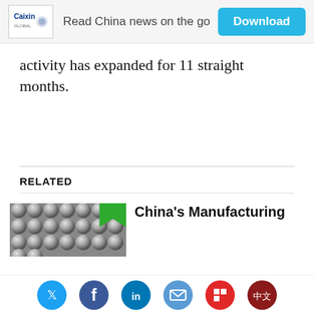[Figure (other): Caixin Global banner ad with logo, text 'Read China news on the go' and a blue Download button]
activity has expanded for 11 straight months.
RELATED
[Figure (photo): Thumbnail photo of metallic ball bearings with a small green bookmark/tag icon]
China's Manufacturing
[Figure (other): Social sharing bar with Twitter, Facebook, LinkedIn, Email, Flipboard, and Chinese language icons]